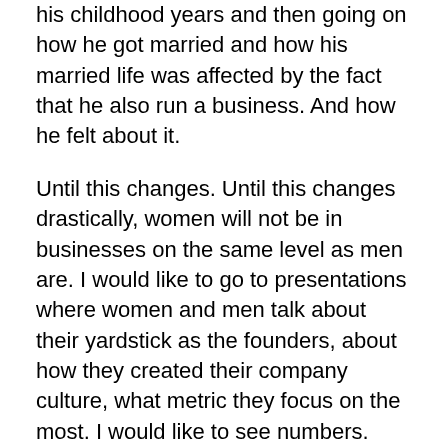his childhood years and then going on how he got married and how his married life was affected by the fact that he also run a business. And how he felt about it.
Until this changes. Until this changes drastically, women will not be in businesses on the same level as men are. I would like to go to presentations where women and men talk about their yardstick as the founders, about how they created their company culture, what metric they focus on the most. I would like to see numbers. Yes, numbers, not dry and boring numbers, as women sometimes call them, but exciting numbers; Because while business is not just about numbers, but without them it would never survive and grow. I want to see numbers that would let me understand the growth of the company in a certain timespan and how different product introductions or marketing tactics affected this growth. Through those